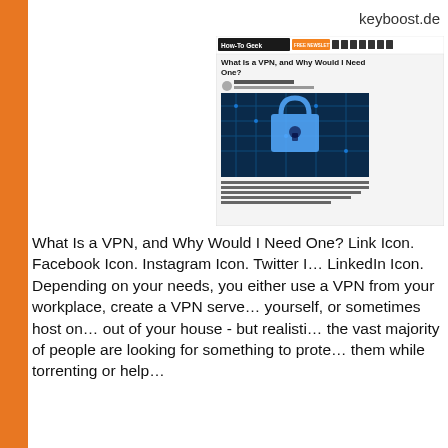keyboost.de
[Figure (screenshot): Screenshot of a How-To Geek article titled 'What Is a VPN, and Why Would I Need One?' showing the article header, author info, a lock/circuit board image, and a brief article description.]
What Is a VPN, and Why Would I Need One? Link Icon. Facebook Icon. Instagram Icon. Twitter Icon. LinkedIn Icon.
Depending on your needs, you either use a VPN from your workplace, create a VPN server yourself, or sometimes host one out of your house - but realistically the vast majority of people are looking for something to protect them while torrenting or help...